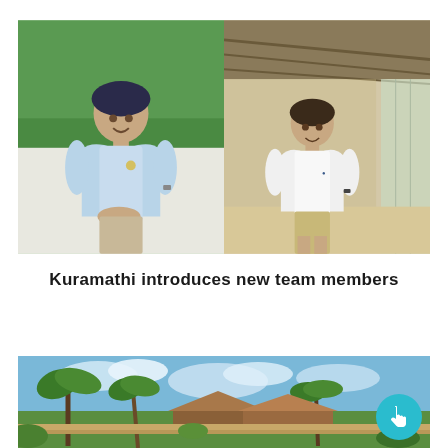[Figure (photo): Two side-by-side photos of hotel staff members in uniform. Left: a woman in a light blue polo shirt standing outdoors with tropical greenery behind her. Right: a woman in a white polo shirt standing in a covered walkway/corridor.]
Kuramathi introduces new team members
[Figure (photo): A tropical resort scene showing palm trees, thatched-roof structures, and blue sky with clouds. A circular teal floating action button with a hand/cursor icon is overlaid in the bottom-right area.]